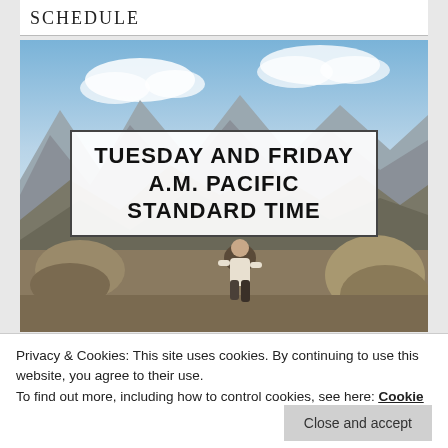SCHEDULE
[Figure (photo): Mountain landscape photo with a person crouching on rocky terrain at a high elevation. A white overlay box near the top of the image contains bold text reading: TUESDAY AND FRIDAY A.M. PACIFIC STANDARD TIME]
Privacy & Cookies: This site uses cookies. By continuing to use this website, you agree to their use.
To find out more, including how to control cookies, see here: Cookie Policy
Close and accept